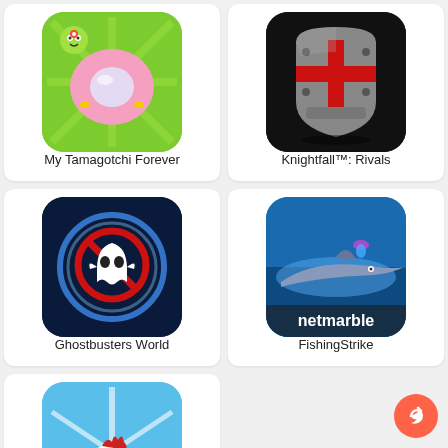[Figure (screenshot): App store listing grid showing mobile game icons and names. Row 1: My Tamagotchi Forever (green/pink virtual pet icon), Knightfall™: Rivals (dark knight helmet icon). Row 2: Ghostbusters World (dark blue Ghostbusters logo), FishingStrike (blue fishing game with swordfish, netmarble branding). Row 3: One unnamed chicken game (blue sky with white chicken). Share button (orange circle with arrow) in bottom right corner.]
My Tamagotchi Forever
Knightfall™: Rivals
Ghostbusters World
FishingStrike